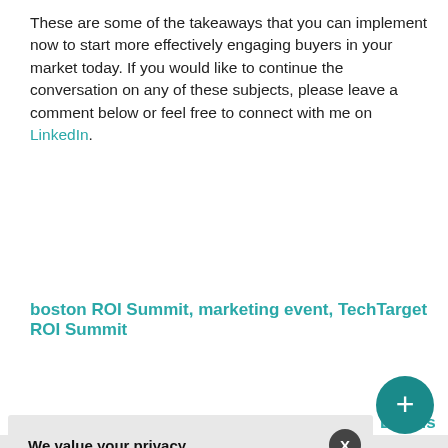These are some of the takeaways that you can implement now to start more effectively engaging buyers in your market today. If you would like to continue the conversation on any of these subjects, please leave a comment below or feel free to connect with me on LinkedIn.
boston ROI Summit, marketing event, TechTarget ROI Summit
[Figure (screenshot): Cookie consent overlay dialog with title 'We value your privacy.', body text about TechTarget cookies, links to 'manage your settings' and 'Privacy Policy', and two buttons: OK and Settings. An X close button appears in the top right of the dialog.]